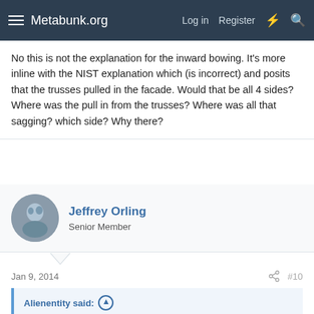Metabunk.org  Log in  Register
No this is not the explanation for the inward bowing. It's more inline with the NIST explanation which (is incorrect) and posits that the trusses pulled in the facade. Would that be all 4 sides? Where was the pull in from the trusses? Where was all that sagging? which side? Why there?
Jeffrey Orling
Senior Member
Jan 9, 2014  #10
Alienentity said: ↑

That's right - the sagging trusses and inward bowing of the perimeter are clear consequences of the impact and fire. It can never be ruled out that this was the mechanism of collapse, even if other much more complex scenarios are theoretically possible. But which explanation fits the evidence better?

The only reason Skillings is mentioned is because he tends to argue